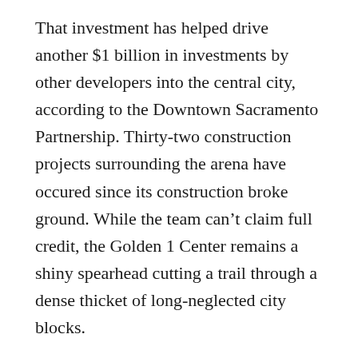That investment has helped drive another $1 billion in investments by other developers into the central city, according to the Downtown Sacramento Partnership. Thirty-two construction projects surrounding the arena have occured since its construction broke ground. While the team can't claim full credit, the Golden 1 Center remains a shiny spearhead cutting a trail through a dense thicket of long-neglected city blocks.
“Being a catalyst and helping grow